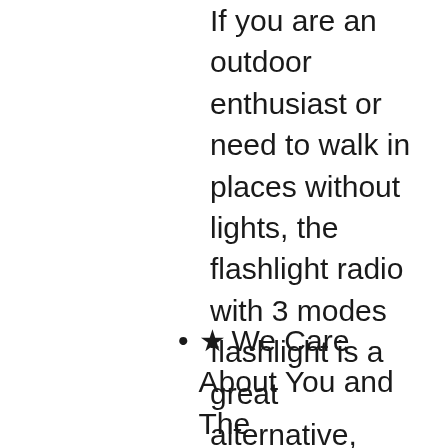If you are an outdoor enthusiast or need to walk in places without lights, the flashlight radio with 3 modes flashlight is a great alternative, which farthest lighting range exceeds10m, farther than the most other solar emergency radio. Also, a reading lamp with a Motion sensor will greatly help you get up in the mid-night to avoid waking your family. Add to cart, you will never regret that you purchase this crank flashlight radio!
★ We Care About You and The